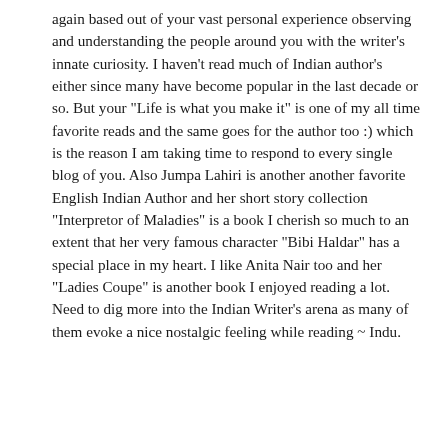again based out of your vast personal experience observing and understanding the people around you with the writer's innate curiosity. I haven't read much of Indian author's either since many have become popular in the last decade or so. But your "Life is what you make it" is one of my all time favorite reads and the same goes for the author too :) which is the reason I am taking time to respond to every single blog of you. Also Jumpa Lahiri is another another favorite English Indian Author and her short story collection "Interpretor of Maladies" is a book I cherish so much to an extent that her very famous character "Bibi Haldar" has a special place in my heart. I like Anita Nair too and her "Ladies Coupe" is another book I enjoyed reading a lot. Need to dig more into the Indian Writer's arena as many of them evoke a nice nostalgic feeling while reading ~ Indu.